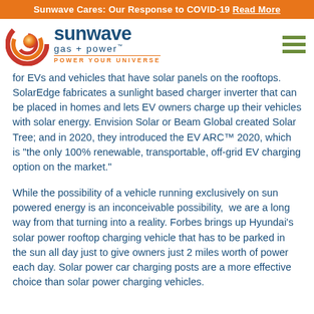Sunwave Cares: Our Response to COVID-19 Read More
[Figure (logo): Sunwave Gas + Power logo with circular swirl icon and text 'POWER YOUR UNIVERSE']
for EVs and vehicles that have solar panels on the rooftops. SolarEdge fabricates a sunlight based charger inverter that can be placed in homes and lets EV owners charge up their vehicles with solar energy. Envision Solar or Beam Global created Solar Tree; and in 2020, they introduced the EV ARC™ 2020, which is “the only 100% renewable, transportable, off-grid EV charging option on the market.”
While the possibility of a vehicle running exclusively on sun powered energy is an inconceivable possibility,  we are a long way from that turning into a reality. Forbes brings up Hyundai’s solar power rooftop charging vehicle that has to be parked in the sun all day just to give owners just 2 miles worth of power each day. Solar power car charging posts are a more effective choice than solar power charging vehicles.